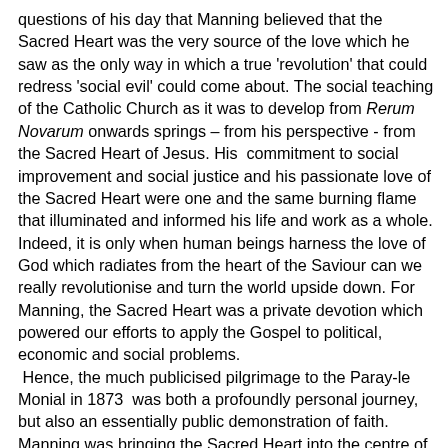questions of his day that Manning believed that the Sacred Heart was the very source of the love which he saw as the only way in which a true 'revolution' that could redress 'social evil' could come about.  The social teaching of the Catholic Church as it was to develop from Rerum Novarum onwards springs – from his perspective - from the Sacred Heart of Jesus.  His  commitment to social improvement and social justice and his passionate love of the Sacred Heart were one and the same burning flame that illuminated and informed his life and work as a whole.  Indeed, it is only when human beings harness the love of God which radiates from the heart of the Saviour can we really revolutionise and turn the world upside down. For Manning, the Sacred Heart was a private devotion which powered our efforts to apply the Gospel to political, economic and social problems.  Hence, the much publicised pilgrimage to the Paray-le Monial in 1873  was both a profoundly personal journey, but also an essentially public demonstration of faith.  Manning was bringing the Sacred Heart into the centre of the public square, just as he was bringing Catholic teaching into political economy of his day.